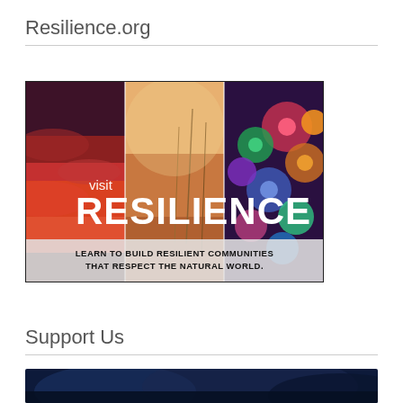Resilience.org
[Figure (illustration): Advertisement banner for Resilience.org showing three panels of nature photography (dramatic sky, golden grasses, colorful flowers/corals). Text overlay reads 'visit RESILIENCE' in large bold white letters and 'LEARN TO BUILD RESILIENT COMMUNITIES THAT RESPECT THE NATURAL WORLD.' in bold black text on a light footer strip.]
Support Us
[Figure (photo): Partial view of a dark blue night sky or storm clouds photo, cropped at bottom of page.]